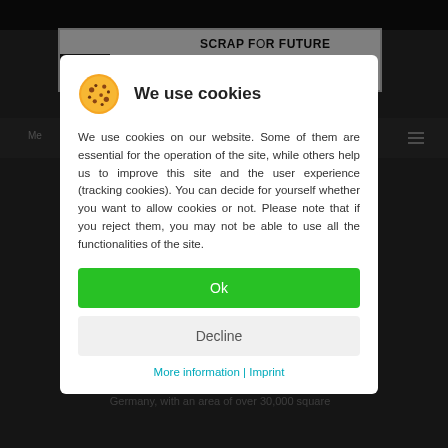[Figure (screenshot): Dark website background with 'SCRAP FOR FUTURE' header text and partial navigation bar visible behind cookie consent modal]
We use cookies
We use cookies on our website. Some of them are essential for the operation of the site, while others help us to improve this site and the user experience (tracking cookies). You can decide for yourself whether or not to allow cookies or not. Please note that if you reject them, you may not be able to use all the functionalities of the site.
Ok
Decline
More information | Imprint